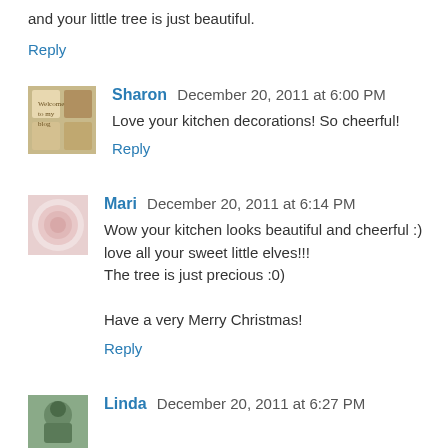and your little tree is just beautiful.
Reply
Sharon  December 20, 2011 at 6:00 PM
Love your kitchen decorations! So cheerful!
Reply
Mari  December 20, 2011 at 6:14 PM
Wow your kitchen looks beautiful and cheerful :) love all your sweet little elves!!!
The tree is just precious :0)

Have a very Merry Christmas!
Reply
Linda  December 20, 2011 at 6:27 PM